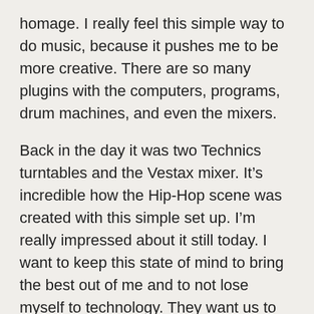homage. I really feel this simple way to do music, because it pushes me to be more creative. There are so many plugins with the computers, programs, drum machines, and even the mixers.
Back in the day it was two Technics turntables and the Vestax mixer. It’s incredible how the Hip-Hop scene was created with this simple set up. I’m really impressed about it still today. I want to keep this state of mind to bring the best out of me and to not lose myself to technology. They want us to buy so many things, but we don’t need so many things. It’s pretty good to stay on the human level with the basics and just to try to put our souls through our instruments.
TRHH: You’ve produced EP’s for Craig G and AG, but if you could produce an entire album for one emcee who would it be?